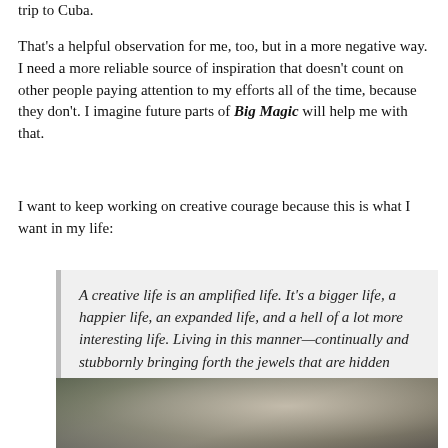trip to Cuba.
That's a helpful observation for me, too, but in a more negative way. I need a more reliable source of inspiration that doesn't count on other people paying attention to my efforts all of the time, because they don't. I imagine future parts of Big Magic will help me with that.
I want to keep working on creative courage because this is what I want in my life:
A creative life is an amplified life. It's a bigger life, a happier life, an expanded life, and a hell of a lot more interesting life. Living in this manner—continually and stubbornly bringing forth the jewels that are hidden within you—is a fine art, in and of itself. (p. 12)
[Figure (photo): A photograph showing a large textured tree with gnarled bark and roots, with a person visible in the background among green foliage.]